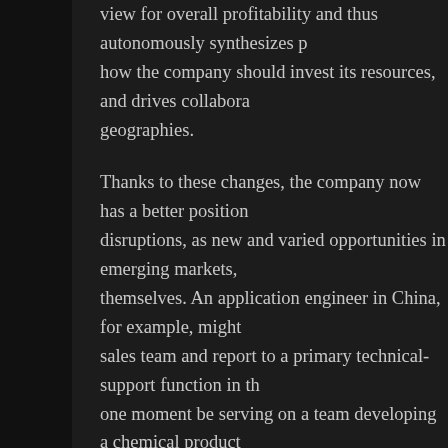view for overall profitability and thus autonomously synthesizes p... how the company should invest its resources, and drives collabora... geographies.
Thanks to these changes, the company now has a better position... disruptions, as new and varied opportunities in emerging markets,... themselves. An application engineer in China, for example, might... sales team and report to a primary technical-support function in th... one moment be serving on a team developing a chemical product... redeployed to a new team when an opportunity arose to supply tha... construction industry. The roles, capabilities, and accountabilities... responsibility of the more stable functional unit. But to use the sma... work teams are a dynamic, perhaps temporary application layer o... organizational backbone.
A fast-growing online company we know applies the same logic. It... around functions. Dynamism comes from a series of performance... needs and product requirements. These market segments are not... they are temporary performance cells, populated by employees fro... marketing, finance) and reviewed every 90 days through clearly de... (KPIs). Senior executives then decide whether to keep these cells... them more or fewer resources. The reallocation as a need...